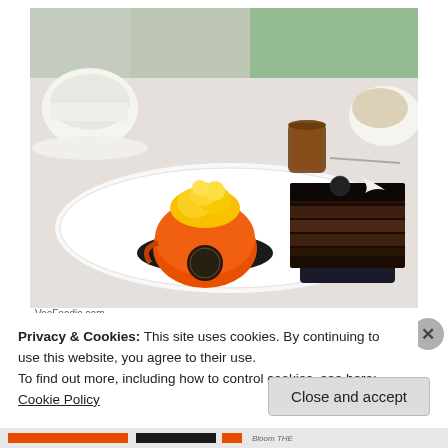[Figure (photo): Photograph of two French pastries on a white plate: an orange choux pastry with yellow cream topping (branded with a circular logo) and a rectangular layered chocolate cake with dark glaze and decorative white chocolate piece, alongside a small amber glass and coffee cups in background.]
VooFoodie.com
Privacy & Cookies: This site uses cookies. By continuing to use this website, you agree to their use.
To find out more, including how to control cookies, see here: Cookie Policy
Close and accept